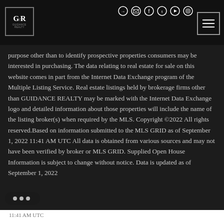[Figure (logo): Guidance Realty logo with G/R monogram in bordered box, on dark header bar with social media icons and hamburger menu]
purpose other than to identify prospective properties consumers may be interested in purchasing. The data relating to real estate for sale on this website comes in part from the Internet Data Exchange program of the Multiple Listing Service. Real estate listings held by brokerage firms other than GUIDANCE REALTY may be marked with the Internet Data Exchange logo and detailed information about those properties will include the name of the listing broker(s) when required by the MLS. Copyright ©2022 All rights reserved.Based on information submitted to the MLS GRID as of September 1, 2022 11:41 AM UTC All data is obtained from various sources and may not have been verified by broker or MLS GRID. Supplied Open House Information is subject to change without notice. Data is updated as of September 1, 2022
11:41 AM UTC